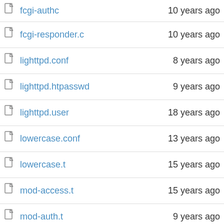| Name | Age |
| --- | --- |
| fcgi-authc | 10 years ago |
| fcgi-responder.c | 10 years ago |
| lighttpd.conf | 8 years ago |
| lighttpd.htpasswd | 9 years ago |
| lighttpd.user | 18 years ago |
| lowercase.conf | 13 years ago |
| lowercase.t | 15 years ago |
| mod-access.t | 15 years ago |
| mod-auth.t | 9 years ago |
| mod-cgi.t | 15 years ago |
| mod-compress.conf | 13 years ago |